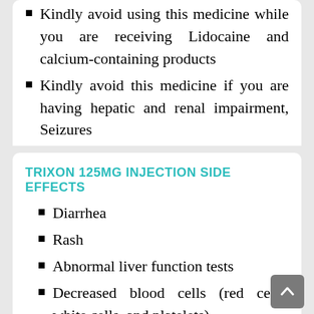Kindly avoid using this medicine while you are receiving Lidocaine and calcium-containing products
Kindly avoid this medicine if you are having hepatic and renal impairment, Seizures
TRIXON 125MG INJECTION SIDE EFFECTS
Diarrhea
Rash
Abnormal liver function tests
Decreased blood cells (red cells, white cells, and platelets)
Fever